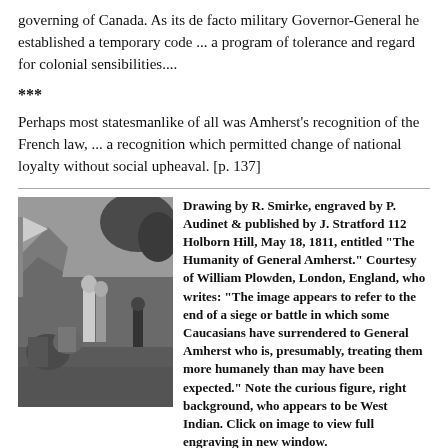governing of Canada. As its de facto military Governor-General he established a temporary code ... a program of tolerance and regard for colonial sensibilities....
***
Perhaps most statesmanlike of all was Amherst's recognition of the French law, ... a recognition which permitted change of national loyalty without social upheaval. [p. 137]
[Figure (illustration): Historical engraving showing General Amherst with Caucasian figures who have surrendered, a West Indian figure visible in the right background. Drawing by R. Smirke, engraved by P. Audinet & published by J. Stratford 112 Holborn Hill, May 18, 1811, entitled 'The Humanity of General Amherst.']
Drawing by R. Smirke, engraved by P. Audinet & published by J. Stratford 112 Holborn Hill, May 18, 1811, entitled "The Humanity of General Amherst." Courtesy of William Plowden, London, England, who writes: "The image appears to refer to the end of a siege or battle in which some Caucasians have surrendered to General Amherst who is, presumably, treating them more humanely than may have been expected." Note the curious figure, right background, who appears to be West Indian. Click on image to view full engraving in new window.